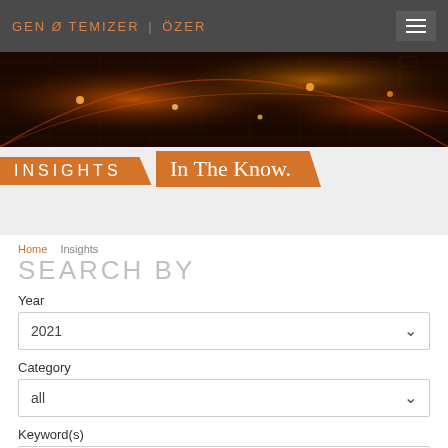GEN & TEMIZER | ÖZER
[Figure (illustration): Dark banner with orange glowing network/circuit board pattern background image]
INSIGHTS
In The Know.
Home  Insights
SEARCH BY
Year
2021
Category
all
Keyword(s)